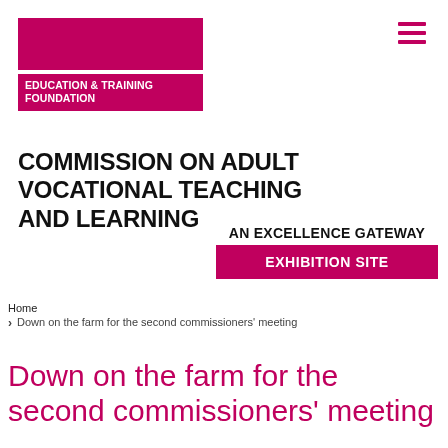[Figure (logo): Education & Training Foundation logo — pink rectangle bar above a pink text bar reading EDUCATION & TRAINING FOUNDATION]
COMMISSION ON ADULT VOCATIONAL TEACHING AND LEARNING
AN EXCELLENCE GATEWAY EXHIBITION SITE
Home
Down on the farm for the second commissioners' meeting
Down on the farm for the second commissioners' meeting